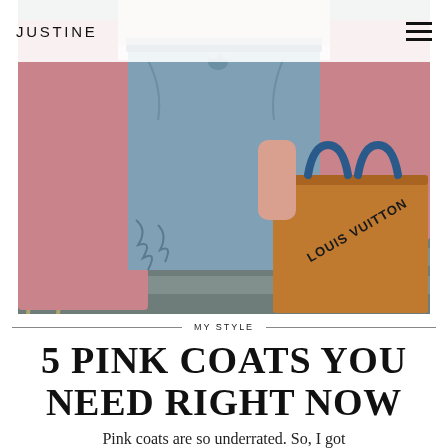JUSTINE
[Figure (photo): Woman wearing a pink coat and ripped jeans, holding a Louis Vuitton shopping bag with blue handles, standing on a city street crosswalk]
MY STYLE
5 PINK COATS YOU NEED RIGHT NOW
Pink coats are so underrated. So, I got